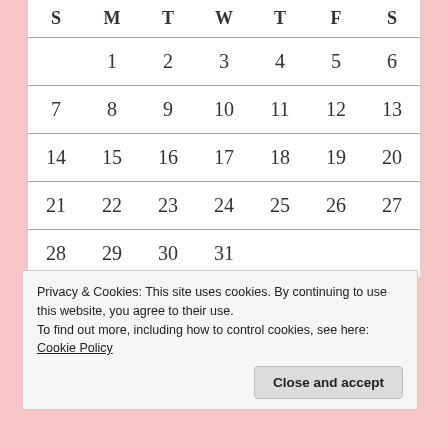| S | M | T | W | T | F | S |
| --- | --- | --- | --- | --- | --- | --- |
|  | 1 | 2 | 3 | 4 | 5 | 6 |
| 7 | 8 | 9 | 10 | 11 | 12 | 13 |
| 14 | 15 | 16 | 17 | 18 | 19 | 20 |
| 21 | 22 | 23 | 24 | 25 | 26 | 27 |
| 28 | 29 | 30 | 31 |  |  |  |
Privacy & Cookies: This site uses cookies. By continuing to use this website, you agree to their use.
To find out more, including how to control cookies, see here: Cookie Policy